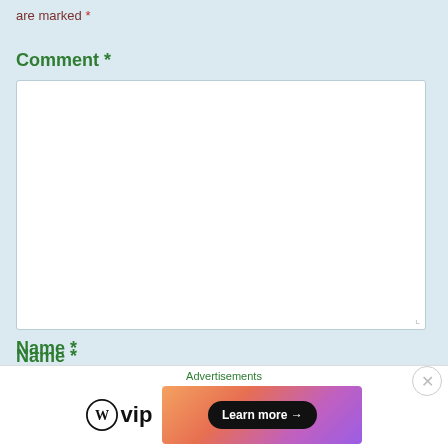are marked *
Comment *
[Figure (screenshot): Large white text area input box for comment field with resize handle at bottom right]
Name *
[Figure (screenshot): White text input box for name field]
Email *
[Figure (screenshot): Partial white text input box for email field, cut off at bottom]
Advertisements
[Figure (logo): WordPress VIP logo with WordPress circle icon and VIP text]
[Figure (infographic): Ad banner with gradient background and Learn more arrow button]